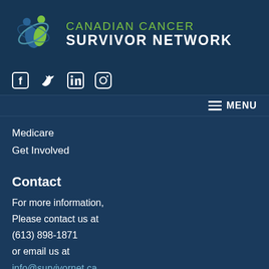[Figure (logo): Canadian Cancer Survivor Network logo with stylized figures in blue and green, with text 'CANADIAN CANCER SURVIVOR NETWORK']
[Figure (other): Social media icons: Facebook, Twitter, LinkedIn, Instagram]
MENU
Medicare
Get Involved
Contact
For more information,
Please contact us at
(613) 898-1871
or email us at
info@survivornet.ca
Get Connected